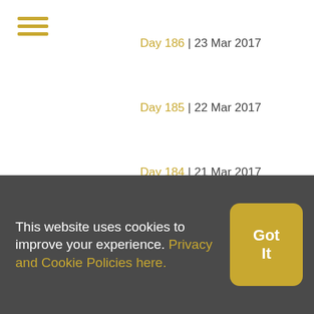[Figure (other): Hamburger menu icon (three horizontal golden lines)]
Day 186 | 23 Mar 2017
Day 185 | 22 Mar 2017
Day 184 | 21 Mar 2017
Day 183 | 20 Mar 2017
Day 181 | 15 Mar 2017
Day 180 | 14 Mar 2017
[Figure (other): Social media icons: Twitter, Facebook, Instagram]
Day 179 | 13 Mar 2017
[Figure (other): Social icons: RSS, newspaper/newsletter, email]
Day 178 | 09 Mar 2017
This website uses cookies to improve your experience. Privacy and Cookie Policies here.
Got It